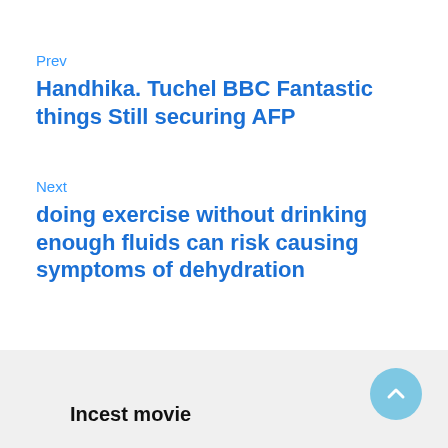Prev
Handhika. Tuchel BBC Fantastic things Still securing AFP
Next
doing exercise without drinking enough fluids can risk causing symptoms of dehydration
Incest movie